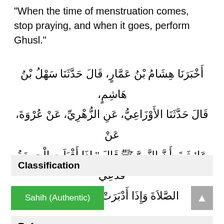"When the time of menstruation comes, stop praying, and when it goes, perform Ghusl."
أَخْبَرَنَا هِشَامُ بْنُ عَمَّارٍ، قَالَ حَدَّثَنَا سَهْلُ بْنُ هَاشِمٍ، قَالَ حَدَّثَنَا الأَوْزَاعِيُّ، عَنِ الزُّهْرِيِّ، عَنْ عُرْوَةَ، عَنْ عَائِشَةَ، أَنَّ النَّبِيَّ ﷺ قَالَ " إِذَا أَقْبَلَتِ الْحِيضَةُ فَدَعِي الصَّلاَةَ وَإِذَا أَدْبَرَتْ فَاغْتَسِلِي " .
Classification
Sahih (Authentic)
References